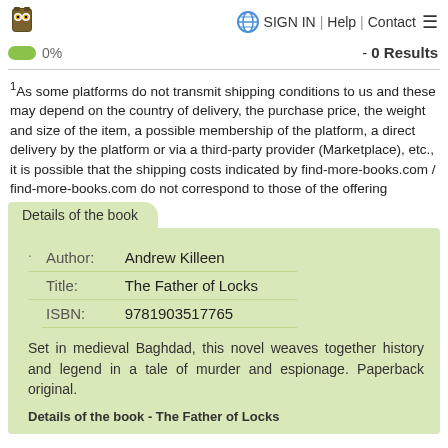SIGN IN | Help | Contact
0%   - 0 Results
1As some platforms do not transmit shipping conditions to us and these may depend on the country of delivery, the purchase price, the weight and size of the item, a possible membership of the platform, a direct delivery by the platform or via a third-party provider (Marketplace), etc., it is possible that the shipping costs indicated by find-more-books.com / find-more-books.com do not correspond to those of the offering platform.
|  |  |  |
| --- | --- | --- |
| · | Author: | Andrew Killeen |
|  | Title: | The Father of Locks |
|  | ISBN: | 9781903517765 |
Set in medieval Baghdad, this novel weaves together history and legend in a tale of murder and espionage. Paperback original.
Details of the book - The Father of Locks